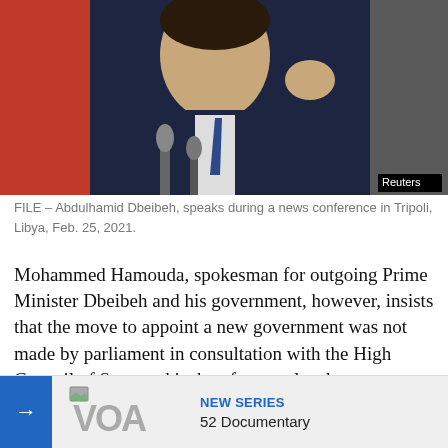[Figure (photo): A man in a dark suit speaks at a news conference with microphones in front of him, gesturing with one hand. Red background visible at left. Reuters watermark badge at bottom right.]
FILE – Abdulhamid Dbeibeh, speaks during a news conference in Tripoli, Libya, Feb. 25, 2021.
Mohammed Hamouda, spokesman for outgoing Prime Minister Dbeibeh and his government, however, insists that the move to appoint a new government was not made by parliament in consultation with the High Council of State and is therefore not legal.
He says that it is the responsibility of the High Council of Stat[e to approve any new ... parliament mu[st ...] Moves made b[y ...]